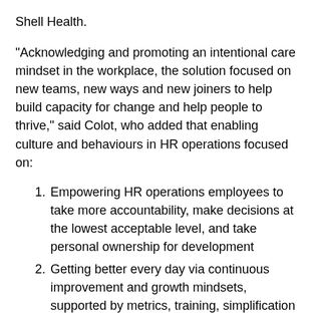Shell Health.
“Acknowledging and promoting an intentional care mindset in the workplace, the solution focused on new teams, new ways and new joiners to help build capacity for change and help people to thrive,” said Colot, who added that enabling culture and behaviours in HR operations focused on:
Empowering HR operations employees to take more accountability, make decisions at the lowest acceptable level, and take personal ownership for development
Getting better every day via continuous improvement and growth mindsets, supported by metrics, training, simplification and automation
Stronger focus on compliance and controls,